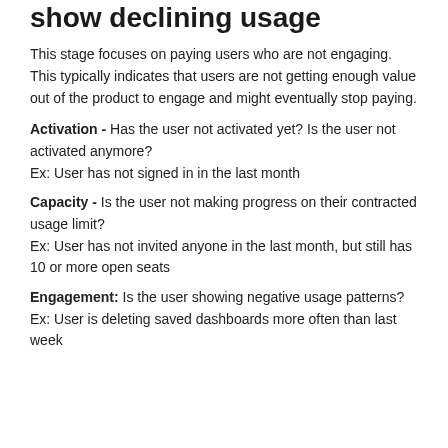show declining usage
This stage focuses on paying users who are not engaging. This typically indicates that users are not getting enough value out of the product to engage and might eventually stop paying.
Activation - Has the user not activated yet? Is the user not activated anymore?
Ex: User has not signed in in the last month
Capacity - Is the user not making progress on their contracted usage limit?
Ex: User has not invited anyone in the last month, but still has 10 or more open seats
Engagement: Is the user showing negative usage patterns?
Ex: User is deleting saved dashboards more often than last week